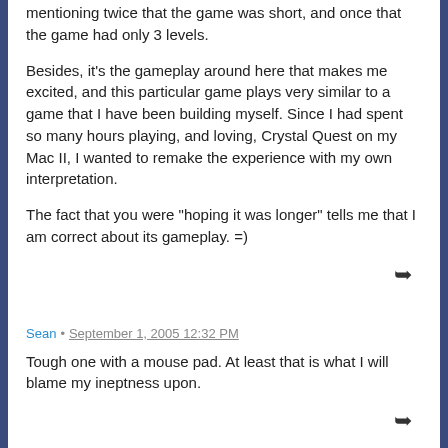mentioning twice that the game was short, and once that the game had only 3 levels.
Besides, it's the gameplay around here that makes me excited, and this particular game plays very similar to a game that I have been building myself. Since I had spent so many hours playing, and loving, Crystal Quest on my Mac II, I wanted to remake the experience with my own interpretation.
The fact that you were "hoping it was longer" tells me that I am correct about its gameplay. =)
Sean • September 1, 2005 12:32 PM
Tough one with a mouse pad. At least that is what I will blame my ineptness upon.